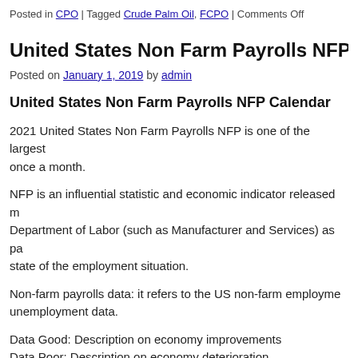Posted in CPO | Tagged Crude Palm Oil, FCPO | Comments Off
United States Non Farm Payrolls NFP Ca...
Posted on January 1, 2019 by admin
United States Non Farm Payrolls NFP Calendar
2021 United States Non Farm Payrolls NFP is one of the largest... once a month.
NFP is an influential statistic and economic indicator released m... Department of Labor (such as Manufacturer and Services) as pa... state of the employment situation.
Non-farm payrolls data: it refers to the US non-farm employme... unemployment data.
Data Good: Description on economy improvements
Data Poor: Description on economy deterioration...